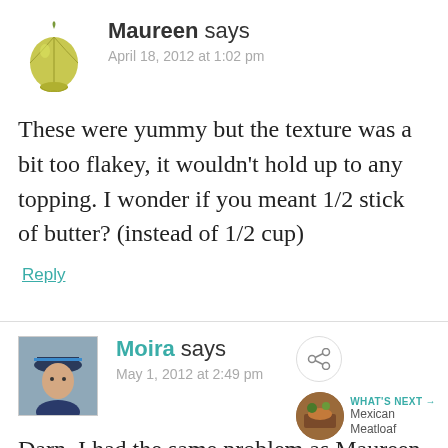[Figure (illustration): Avatar icon of a yellow-green fig or garlic bulb shape]
Maureen says
April 18, 2012 at 1:02 pm
These were yummy but the texture was a bit too flakey, it wouldn't hold up to any topping. I wonder if you meant 1/2 stick of butter? (instead of 1/2 cup)
Reply
[Figure (photo): Small avatar photo of Moira, a person wearing a hat]
Moira says
May 1, 2012 at 2:49 pm
[Figure (infographic): Share button icon (circular with share symbol) and What's Next promo showing Mexican Meatloaf with a food thumbnail]
Darn, I had the same problem as Maureen (I made the flax ones), I didn't